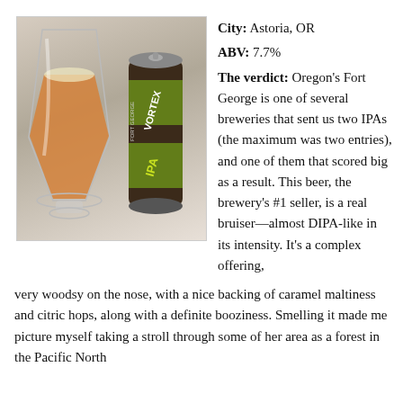[Figure (photo): A beer glass filled with amber IPA next to a Fort George Vortex IPA tall can on a light gray background.]
City: Astoria, OR
ABV: 7.7%
The verdict: Oregon's Fort George is one of several breweries that sent us two IPAs (the maximum was two entries), and one of them that scored big as a result. This beer, the brewery's #1 seller, is a real bruiser—almost DIPA-like in its intensity. It's a complex offering, very woodsy on the nose, with a nice backing of caramel maltiness and citric hops, along with a definite booziness. Smelling it made me picture myself taking a stroll through some of her area as a forest in the Pacific North...